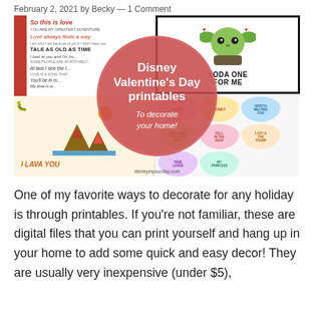February 2, 2021 by Becky — 1 Comment
[Figure (illustration): Collage of Disney Valentine's Day printables: left panel shows Disney movie quotes in red/script text on white background and an 'I Lava You' Lilo & Stitch themed card on beige background; right panel shows a Baby Yoda 'Yoda One For Me' print and colorful candy hearts with Disney-themed messages. A large pink/red circle overlay in the center displays 'Disney Valentine's Day printables - To decorate your home!' with disneyinyourday.com watermark at the bottom.]
One of my favorite ways to decorate for any holiday is through printables. If you're not familiar, these are digital files that you can print yourself and hang up in your home to add some quick and easy decor! They are usually very inexpensive (under $5),